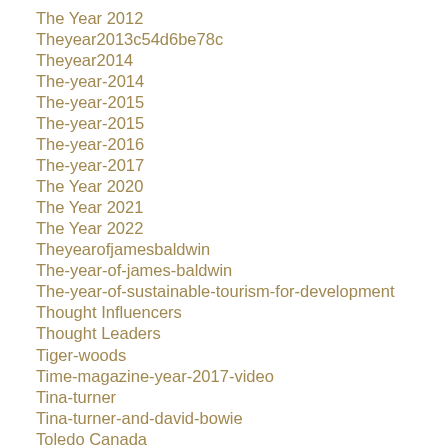The Year 2012
Theyear2013c54d6be78c
Theyear2014
The-year-2014
The-year-2015
The-year-2015
The-year-2016
The-year-2017
The Year 2020
The Year 2021
The Year 2022
Theyearofjamesbaldwin
The-year-of-james-baldwin
The-year-of-sustainable-tourism-for-development
Thought Influencers
Thought Leaders
Tiger-woods
Time-magazine-year-2017-video
Tina-turner
Tina-turner-and-david-bowie
Toledo Canada